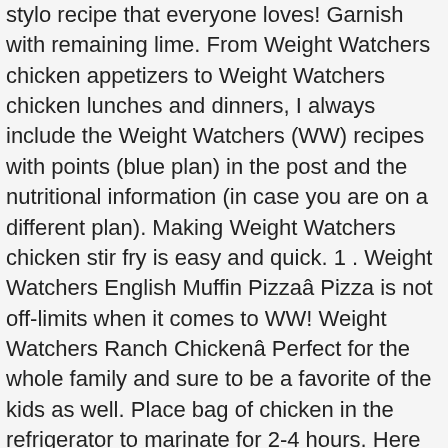stylo recipe that everyone loves! Garnish with remaining lime. From Weight Watchers chicken appetizers to Weight Watchers chicken lunches and dinners, I always include the Weight Watchers (WW) recipes with points (blue plan) in the post and the nutritional information (in case you are on a different plan). Making Weight Watchers chicken stir fry is easy and quick. 1 . Weight Watchers English Muffin Pizzaâ Pizza is not off-limits when it comes to WW! Weight Watchers Ranch Chickenâ Perfect for the whole family and sure to be a favorite of the kids as well. Place bag of chicken in the refrigerator to marinate for 2-4 hours. Here you'll get easy crockpot, slow cooker chicken casserole recipe ideas for family dinner. Enjoy! Itâs easy, indulgent, and packed with flavor. Subscribe for all the best recipes, tips & weekly email support from a lifetime WW! Best Grilled Chicken Breast Recipe - Weight Watchers Friendly If youâre going to eat 1400 calories, then 4 ounces a day and 5 ounces for 1600 calories a day are enough. Chicken Corn Chowder Chicken corn chowder is one of my favorite Weight Watchers chicken recipes. Here is a tasty Asian inspired recipe for grilled chicken